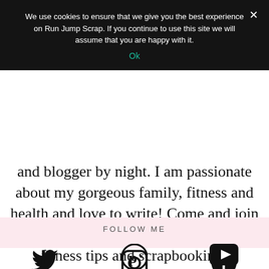We use cookies to ensure that we give you the best experience on Run Jump Scrap. If you continue to use this site we will assume that you are happy with it.
Ok
and blogger by night. I am passionate about my gorgeous family, fitness and health and love to write! Come and join me as I document my family life, fitness tips and scrapbooking!
FOLLOW ME
TWITTER
INSTAGRAM
FACEBOOK
BLOGLOVIN
PINTEREST
YOUTUBE